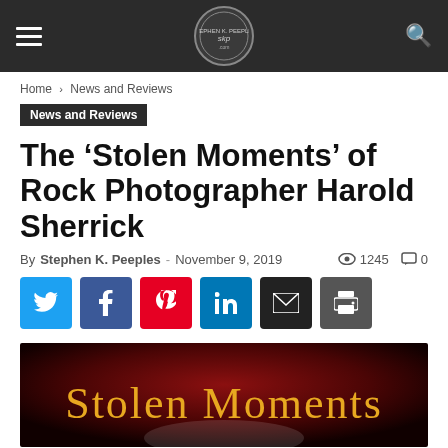Stephen K. Peeples — site header with hamburger menu, logo, and search icon
Home › News and Reviews
News and Reviews
The ‘Stolen Moments’ of Rock Photographer Harold Sherrick
By Stephen K. Peeples - November 9, 2019   1245   0
[Figure (infographic): Social sharing buttons: Twitter (blue), Facebook (dark blue), Pinterest (red), LinkedIn (blue), Email (black), Print (dark grey)]
[Figure (photo): Dark red/black background with the text 'Stolen Moments' in large orange serif font, partially visible article header image]